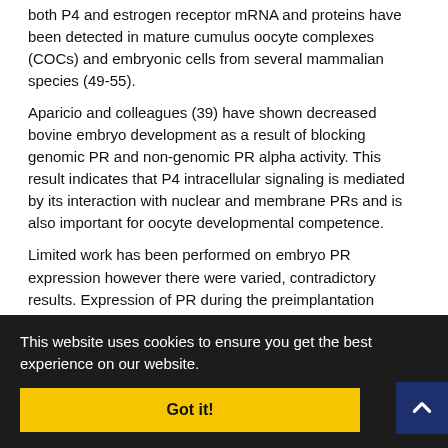both P4 and estrogen receptor mRNA and proteins have been detected in mature cumulus oocyte complexes (COCs) and embryonic cells from several mammalian species (49-55).
Aparicio and colleagues (39) have shown decreased bovine embryo development as a result of blocking genomic PR and non-genomic PR alpha activity. This result indicates that P4 intracellular signaling is mediated by its interaction with nuclear and membrane PRs and is also important for oocyte developmental competence.
Limited work has been performed on embryo PR expression however there were varied, contradictory results. Expression of PR during the preimplantation stages of pig and mouse embryos has been shown (48, [partially obscured] sent during [partially obscured] PR mRNA [partially obscured] on pig [partially obscured] at later [partially obscured] tor mRNA [partially obscured]4). [partially obscured] during early organogenesis. However, mRNA and protein are
This website uses cookies to ensure you get the best experience on our website.
Got it!